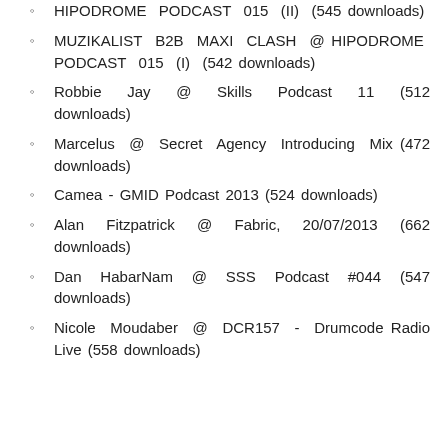HIPODROME PODCAST 015 (II) (545 downloads)
MUZIKALIST B2B MAXI CLASH @ HIPODROME PODCAST 015 (I) (542 downloads)
Robbie Jay @ Skills Podcast 11 (512 downloads)
Marcelus @ Secret Agency Introducing Mix (472 downloads)
Camea - GMID Podcast 2013 (524 downloads)
Alan Fitzpatrick @ Fabric, 20/07/2013 (662 downloads)
Dan HabarNam @ SSS Podcast #044 (547 downloads)
Nicole Moudaber @ DCR157 - Drumcode Radio Live (558 downloads)